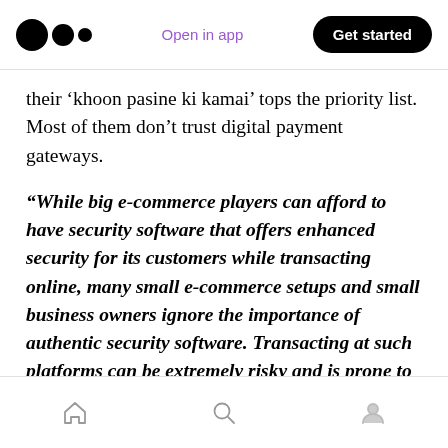Open in app | Get started
their ‘khoon pasine ki kamai’ tops the priority list. Most of them don’t trust digital payment gateways.
“While big e-commerce players can afford to have security software that offers enhanced security for its customers while transacting online, many small e-commerce setups and small business owners ignore the importance of authentic security software. Transacting at such platforms can be extremely risky and is prone to the Trojan and malware attacks
Home | Search | Profile